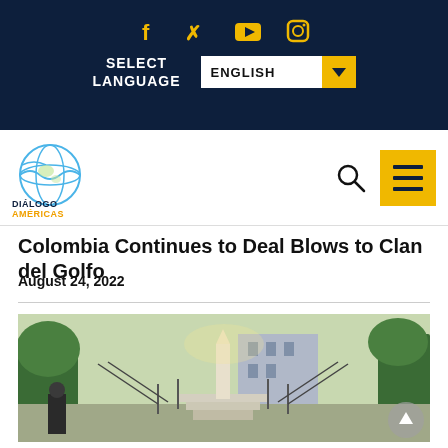Social media icons: Facebook, Twitter, YouTube, Instagram
SELECT LANGUAGE | ENGLISH (dropdown)
[Figure (logo): Diálogo Américas globe logo with blue and yellow text]
Colombia Continues to Deal Blows to Clan del Golfo
August 24, 2022
[Figure (photo): Outdoor scene with military/police personnel near a monument and steps, trees and buildings in background]